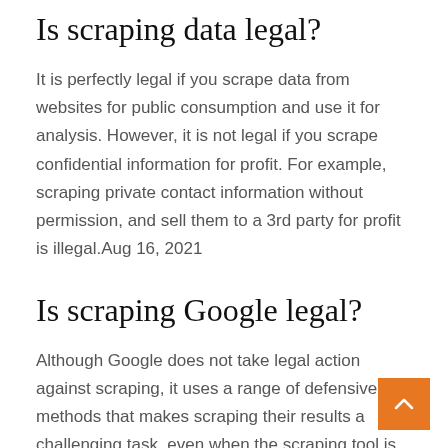Is scraping data legal?
It is perfectly legal if you scrape data from websites for public consumption and use it for analysis. However, it is not legal if you scrape confidential information for profit. For example, scraping private contact information without permission, and sell them to a 3rd party for profit is illegal.Aug 16, 2021
Is scraping Google legal?
Although Google does not take legal action against scraping, it uses a range of defensive methods that makes scraping their results a challenging task, even when the scraping tool is realistically spoofing a